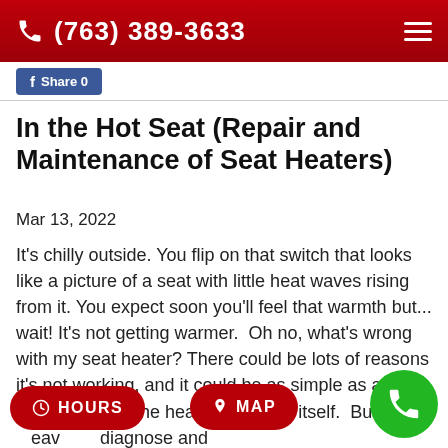(763) 389-3633
[Figure (screenshot): Facebook Share button with 0 shares]
In the Hot Seat (Repair and Maintenance of Seat Heaters)
Mar 13, 2022
It's chilly outside. You flip on that switch that looks like a picture of a seat with little heat waves rising from it. You expect soon you'll feel that warmth but... wait! It's not getting warmer.  Oh no, what's wrong with my seat heater? There could be lots of reasons it's not working, and it could be as simple as a fuse or as major as the heating element itself.  But it's heavy to diagnose and s of own fuse.  Simp replacing the fuse may not fix it because there was a